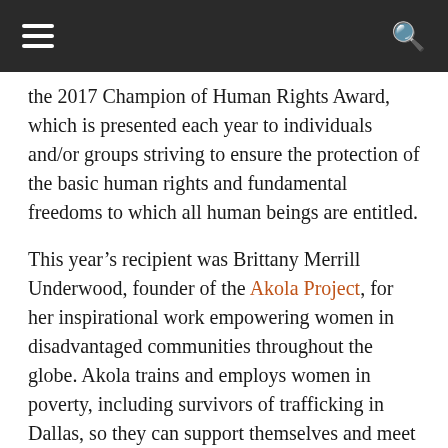≡ [menu]   🔍 [search]
the 2017 Champion of Human Rights Award, which is presented each year to individuals and/or groups striving to ensure the protection of the basic human rights and fundamental freedoms to which all human beings are entitled.
This year's recipient was Brittany Merrill Underwood, founder of the Akola Project, for her inspirational work empowering women in disadvantaged communities throughout the globe. Akola trains and employs women in poverty, including survivors of trafficking in Dallas, so they can support themselves and meet the needs of their families.
Past Champion of Human Rights award recipients include Dallas council member Jennifer Staubach Gates; director and filmmaker Libby Spears; fashion designer Abi Ferrin; Judge Roberto Canas, Jr., presiding judge of